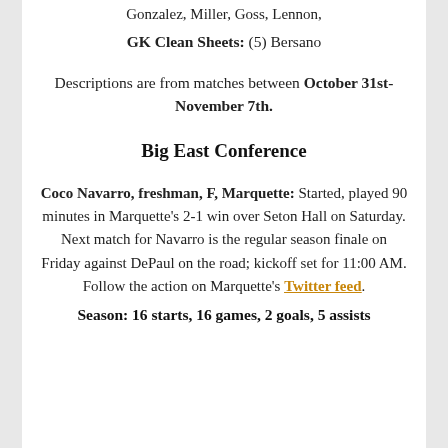Gonzalez, Miller, Goss, Lennon,
GK Clean Sheets: (5) Bersano
Descriptions are from matches between October 31st-November 7th.
Big East Conference
Coco Navarro, freshman, F, Marquette: Started, played 90 minutes in Marquette's 2-1 win over Seton Hall on Saturday. Next match for Navarro is the regular season finale on Friday against DePaul on the road; kickoff set for 11:00 AM. Follow the action on Marquette's Twitter feed.
Season: 16 starts, 16 games, 2 goals, 5 assists